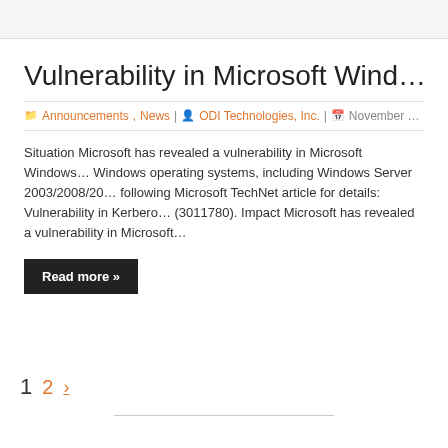Vulnerability in Microsoft Wind…
Announcements, News | ODI Technologies, Inc. | November …
Situation Microsoft has revealed a vulnerability in Microsoft Windows… Windows operating systems, including Windows Server 2003/2008/2… following Microsoft TechNet article for details: Vulnerability in Kerber… (3011780). Impact Microsoft has revealed a vulnerability in Microsoft…
Read more »
1  2  ›